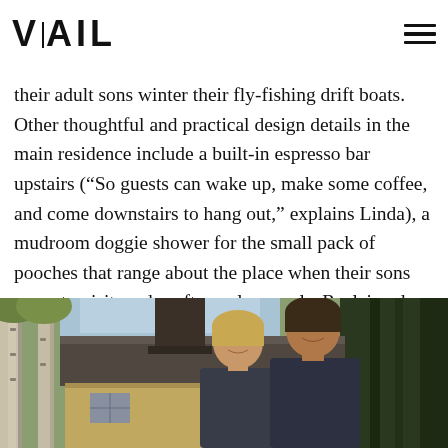VAIL
their adult sons winter their fly-fishing drift boats. Other thoughtful and practical design details in the main residence include a built-in espresso bar upstairs (“So guests can wake up, make some coffee, and come downstairs to hang out,” explains Linda), a mudroom doggie shower for the small pack of pooches that range about the place when their sons come to visit, and rooftop solar panels. Reclaimed barnwood used throughout the interior and exterior of both the main home and outbuildings create a rustic feel that roots the property to Lake Creek’s rural heritage.
[Figure (photo): A couple smiling outdoors in front of a rustic home with a metal roof, surrounded by aspen trees and evergreens.]